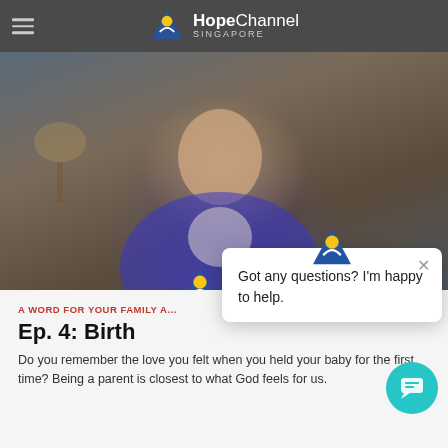Hope Channel Singapore
[Figure (screenshot): Video thumbnail showing a woman in a blue blazer with a floral blouse speaking, seated in a living room setting with lamps and shelving in the background. A red play button is visible at the bottom right of the video.]
A WORD FOR YOUR FAMILY A...
Ep. 4: Birth
Do you remember the love you felt when you held your baby for the first time? Being a parent is closest to what God feels for us.
Got any questions? I'm happy to help.